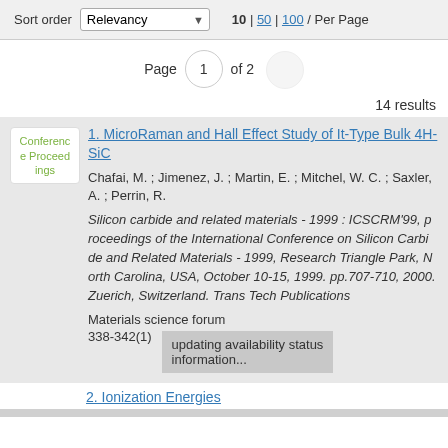Sort order  Relevancy  10 | 50 | 100 / Per Page
Page 1 of 2
14 results
1. MicroRaman and Hall Effect Study of It-Type Bulk 4H-SiC
Conference Proceedings
Chafai, M. ; Jimenez, J. ; Martin, E. ; Mitchel, W. C. ; Saxler, A. ; Perrin, R.
Silicon carbide and related materials - 1999 : ICSCRM'99, proceedings of the International Conference on Silicon Carbide and Related Materials - 1999, Research Triangle Park, North Carolina, USA, October 10-15, 1999.  pp.707-710,  2000.  Zuerich, Switzerland.  Trans Tech Publications
Materials science forum
338-342(1)
updating availability status information...
2. Ionization Energies